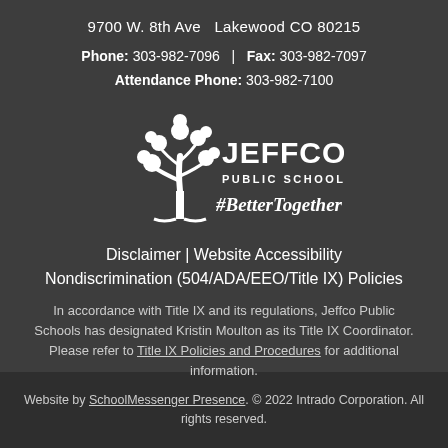9700 W. 8th Ave  Lakewood CO 80215
Phone: 303-982-7096  |  Fax: 303-982-7097
Attendance Phone: 303-982-7100
[Figure (logo): Jeffco Public Schools logo with tree graphic and #BetterTogether hashtag text in white on dark background]
Disclaimer | Website Accessibility
Nondiscrimination (504/ADA/EEO/Title IX) Policies
In accordance with Title IX and its regulations, Jeffco Public Schools has designated Kristin Moulton as its Title IX Coordinator. Please refer to Title IX Policies and Procedures for additional information.
Website by SchoolMessenger Presence. © 2022 Intrado Corporation. All rights reserved.